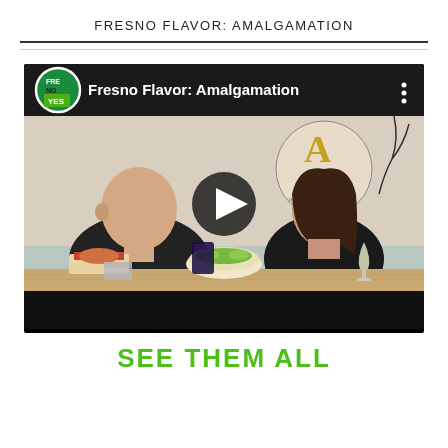FRESNO FLAVOR: AMALGAMATION
[Figure (screenshot): YouTube-style video thumbnail for 'Fresno Flavor: Amalgamation' showing two people sitting at a table with food and drinks, with a play button overlay. The video title bar shows a circular logo with 'FRESNO YES' text and the title 'Fresno Flavor: Amalgamation'.]
SEE THEM ALL